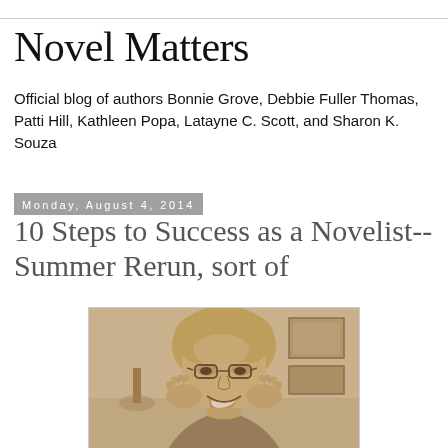Novel Matters
Official blog of authors Bonnie Grove, Debbie Fuller Thomas, Patti Hill, Kathleen Popa, Latayne C. Scott, and Sharon K. Souza
Monday, August 4, 2014
10 Steps to Success as a Novelist-- Summer Rerun, sort of
[Figure (photo): Sepia-toned portrait photo of a smiling woman with blonde hair and glasses, hands raised near her face]